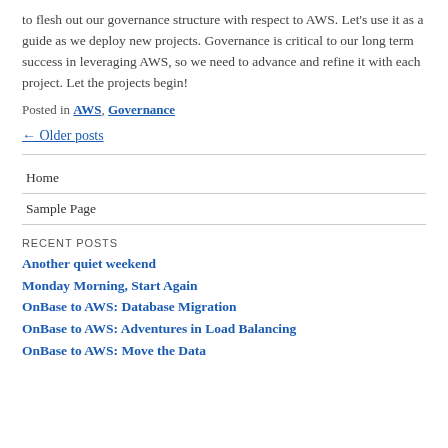to flesh out our governance structure with respect to AWS. Let's use it as a guide as we deploy new projects. Governance is critical to our long term success in leveraging AWS, so we need to advance and refine it with each project. Let the projects begin!
Posted in AWS, Governance
← Older posts
Home
Sample Page
RECENT POSTS
Another quiet weekend
Monday Morning, Start Again
OnBase to AWS: Database Migration
OnBase to AWS: Adventures in Load Balancing
OnBase to AWS: Move the Data